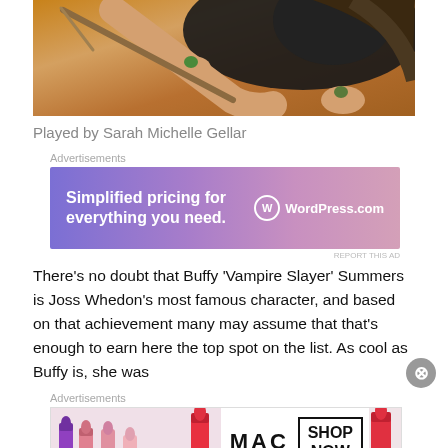[Figure (photo): A woman in a black outfit holding a broom/stake, lying on a golden/sand textured surface. Fashion/editorial photo style.]
Played by Sarah Michelle Gellar
[Figure (screenshot): WordPress.com advertisement banner: 'Simplified pricing for everything you need.' with WordPress.com logo on purple/pink gradient background]
There's no doubt that Buffy 'Vampire Slayer' Summers is Joss Whedon's most famous character, and based on that achievement many may assume that that's enough to earn here the top spot on the list. As cool as Buffy is, she was
[Figure (screenshot): MAC cosmetics advertisement showing lipsticks in various colors with MAC logo and 'SHOP NOW' button]